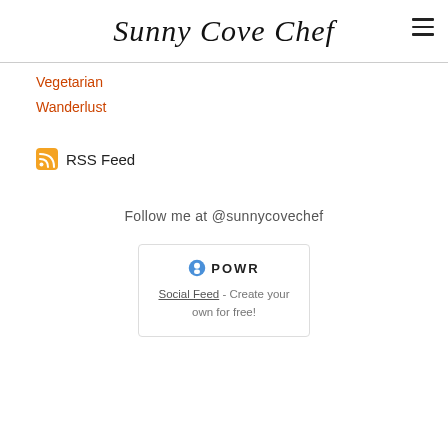Sunny Cove Chef
Vegetarian
Wanderlust
RSS Feed
Follow me at @sunnycovechef
[Figure (other): POWR Social Feed widget box with logo and text: Social Feed - Create your own for free!]